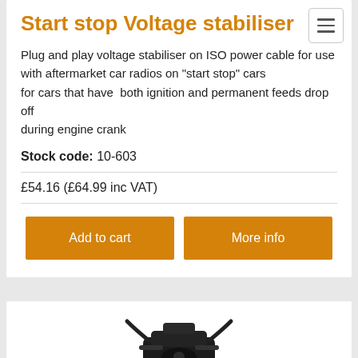Start stop Voltage stabiliser
Plug and play voltage stabiliser on ISO power cable for use with aftermarket car radios on "start stop" cars for cars that have both ignition and permanent feeds drop off during engine crank
Stock code: 10-603
£54.16 (£64.99 inc VAT)
[Figure (other): Product image of a black electronic component/connector device, partially visible at the bottom of the page]